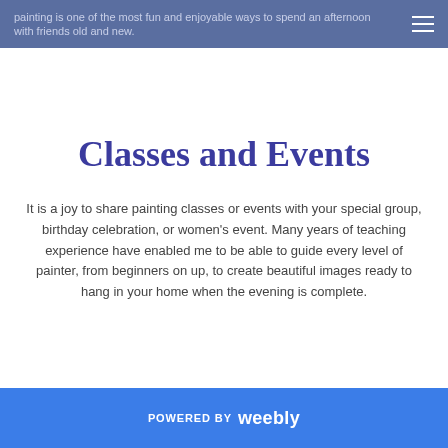painting is one of the most fun and enjoyable ways to spend an afternoon with friends old and new.
Classes and Events
It is a joy to share painting classes or events with your special group, birthday celebration, or women's event. Many years of teaching experience have enabled me to be able to guide every level of painter, from beginners on up, to create beautiful images ready to hang in your home when the evening is complete.
POWERED BY weebly